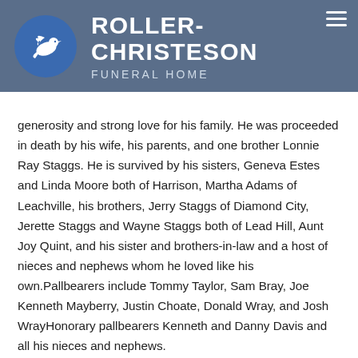[Figure (logo): Roller-Christeson Funeral Home logo with white dove on blue circle background and company name in white text on slate blue banner]
generosity and strong love for his family. He was proceeded in death by his wife, his parents, and one brother Lonnie Ray Staggs. He is survived by his sisters, Geneva Estes and Linda Moore both of Harrison, Martha Adams of Leachville, his brothers, Jerry Staggs of Diamond City, Jerette Staggs and Wayne Staggs both of Lead Hill, Aunt Joy Quint, and his sister and brothers-in-law and a host of nieces and nephews whom he loved like his own.Pallbearers include Tommy Taylor, Sam Bray, Joe Kenneth Mayberry, Justin Choate, Donald Wray, and Josh WrayHonorary pallbearers Kenneth and Danny Davis and all his nieces and nephews.
[Figure (logo): Facebook and Twitter social media icon buttons]